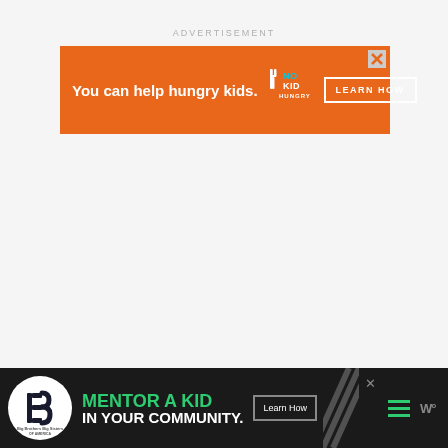ADVERTISEMENT
[Figure (infographic): Orange banner advertisement for No Kid Hungry: 'You can help hungry kids.' with No Kid Hungry logo and 'LEARN HOW' button, with close X button]
[Figure (infographic): Dark banner advertisement for Big Brothers Big Sisters: 'MENTOR A KID IN YOUR COMMUNITY.' with logo, Learn How button, diagonal stripes, hamburger menu, and W wordmark]